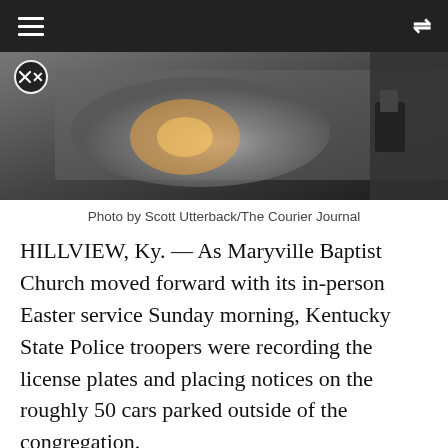≡  ⇌
[Figure (photo): Close-up photo of a police vehicle headlight and an officer with a radio/equipment on their belt, dark background]
Photo by Scott Utterback/The Courier Journal
HILLVIEW, Ky. — As Maryville Baptist Church moved forward with its in-person Easter service Sunday morning, Kentucky State Police troopers were recording the license plates and placing notices on the roughly 50 cars parked outside of the congregation.
The action related to license plates came as a result of an order that Gov. Andy Beshear